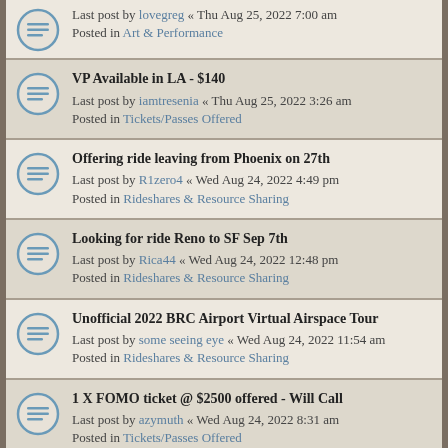Last post by lovegreg « Thu Aug 25, 2022 7:00 am
Posted in Art & Performance
VP Available in LA - $140
Last post by iamtresenia « Thu Aug 25, 2022 3:26 am
Posted in Tickets/Passes Offered
Offering ride leaving from Phoenix on 27th
Last post by R1zero4 « Wed Aug 24, 2022 4:49 pm
Posted in Rideshares & Resource Sharing
Looking for ride Reno to SF Sep 7th
Last post by Rica44 « Wed Aug 24, 2022 12:48 pm
Posted in Rideshares & Resource Sharing
Unofficial 2022 BRC Airport Virtual Airspace Tour
Last post by some seeing eye « Wed Aug 24, 2022 11:54 am
Posted in Rideshares & Resource Sharing
1 X FOMO ticket @ $2500 offered - Will Call
Last post by azymuth « Wed Aug 24, 2022 8:31 am
Posted in Tickets/Passes Offered